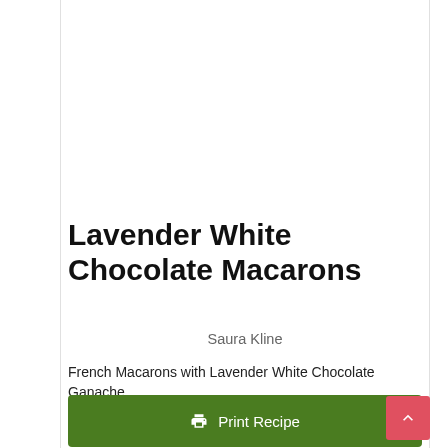Lavender White Chocolate Macarons
Saura Kline
French Macarons with Lavender White Chocolate Ganache
Print Recipe
Pin Recipe